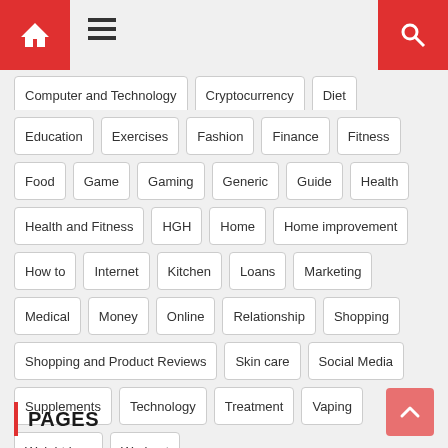Navigation bar with home and search icons
Computer and Technology
Cryptocurrency
Diet
Education
Exercises
Fashion
Finance
Fitness
Food
Game
Gaming
Generic
Guide
Health
Health and Fitness
HGH
Home
Home improvement
How to
Internet
Kitchen
Loans
Marketing
Medical
Money
Online
Relationship
Shopping
Shopping and Product Reviews
Skin care
Social Media
Supplements
Technology
Treatment
Vaping
Weight loss
Workout
PAGES